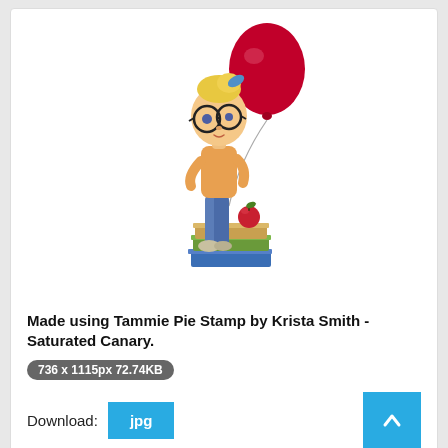[Figure (illustration): Cartoon illustration of a girl with glasses and a blue bow in her blonde hair, wearing jeans and a yellow top, holding a red balloon tied to a stack of books topped with a red apple.]
Made using Tammie Pie Stamp by Krista Smith - Saturated Canary.
736 x 1115px 72.74KB
Download: jpg
[Figure (illustration): Partial view of a molecular structure diagram showing interconnected black and white spheres representing atoms and bonds.]